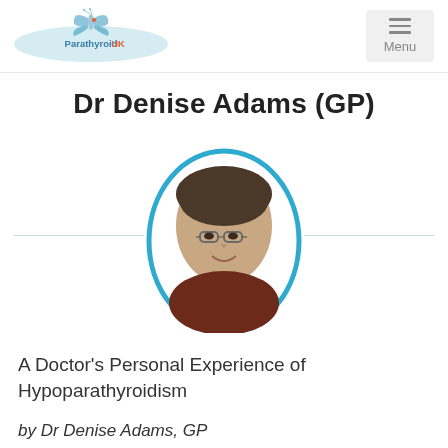[Figure (logo): Parathyroid UK logo with butterfly and text on light blue oval background]
[Figure (other): Menu button with three horizontal lines icon and 'Menu' text, gray background]
Dr Denise Adams (GP)
[Figure (photo): Oval-framed portrait photo of Dr Denise Adams with blue oval border frame, woman with short dark hair and glasses, smiling]
A Doctor's Personal Experience of Hypoparathyroidism
by Dr Denise Adams, GP